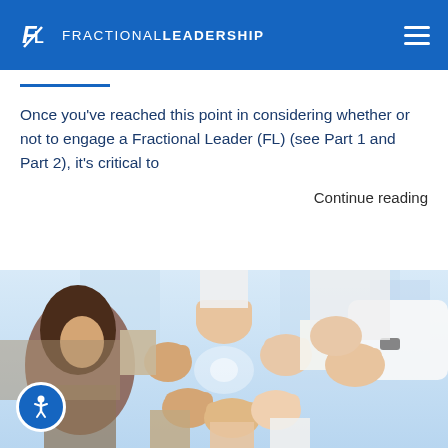FRACTIONAL LEADERSHIP
Once you've reached this point in considering whether or not to engage a Fractional Leader (FL) (see Part 1 and Part 2), it's critical to
Continue reading
[Figure (photo): Group of people forming a circle with their fists bumping together in a team gesture, shot from above; a woman with dark hair is visible on the left side.]